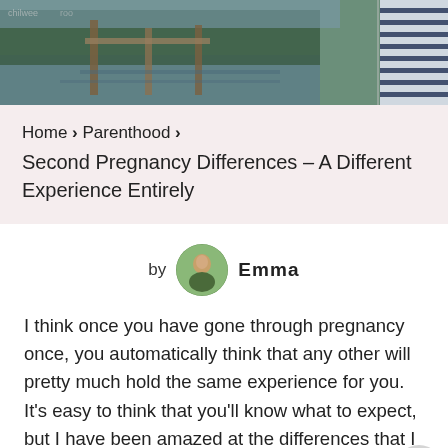[Figure (photo): Hero photo showing a dock/pier area with water, wooden posts, green trees, and a person in a striped shirt on the right edge]
Home > Parenthood > Second Pregnancy Differences – A Different Experience Entirely
by Emma
I think once you have gone through pregnancy once, you automatically think that any other will pretty much hold the same experience for you. It's easy to think that you'll know what to expect, but I have been amazed at the differences that I have felt and through it...